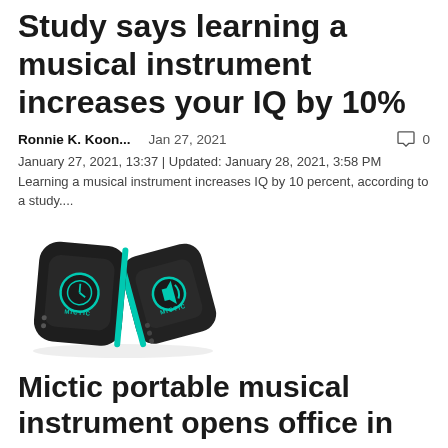Study says learning a musical instrument increases your IQ by 10%
Ronnie K. Koon...   Jan 27, 2021   0
January 27, 2021, 13:37 | Updated: January 28, 2021, 3:58 PM
Learning a musical instrument increases IQ by 10 percent, according to a study....
[Figure (photo): Two black Mictic wearable musical instrument wristbands with teal/cyan accents and logos, shown overlapping]
Mictic portable musical instrument opens office in LA